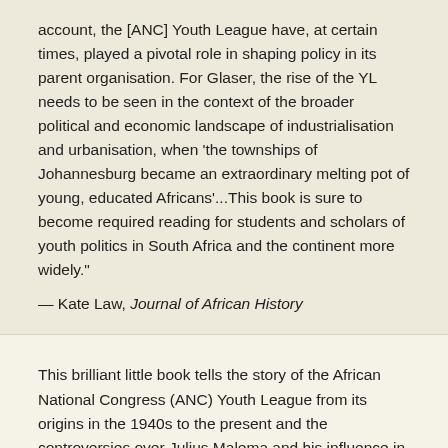account, the [ANC] Youth League have, at certain times, played a pivotal role in shaping policy in its parent organisation. For Glaser, the rise of the YL needs to be seen in the context of the broader political and economic landscape of industrialisation and urbanisation, when 'the townships of Johannesburg became an extraordinary melting pot of young, educated Africans'...This book is sure to become required reading for students and scholars of youth politics in South Africa and the continent more widely."
— Kate Law, Journal of African History
This brilliant little book tells the story of the African National Congress (ANC) Youth League from its origins in the 1940s to the present and the controversies over Julius Malema and his influence in contemporary youth politics. Glaser analyzes the ideology and tactics of its founders, some of whom (notably Nelson Mandela and Oliver